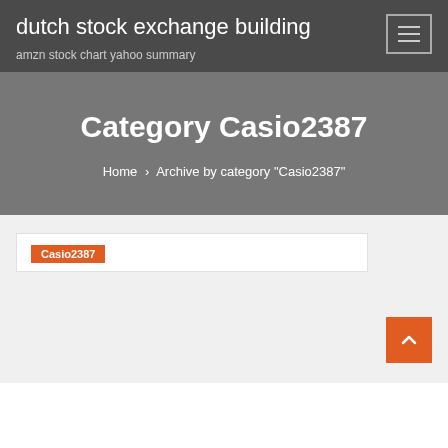dutch stock exchange building
amzn stock chart yahoo summary
Category Casio2387
Home > Archive by category "Casio2387"
Casio2387